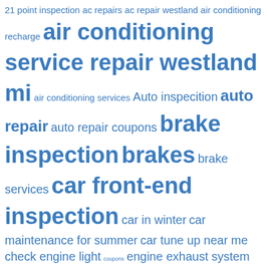21 point inspection ac repairs ac repair westland air conditioning recharge air conditioning service repair westland mi air conditioning services Auto inspecition auto repair auto repair coupons brake inspection brakes brake services car front-end inspection car in winter car maintenance for summer car tune up near me check engine light coupons engine exhaust system inspection full service auto repair full service oil change Garden City improve car Livonia michigan mr muffler mufflers new muffler westland new tire discounts in Westland new tires for winter oil oil change Regular car maintenance replacement service struts synthetic oil tire rotation and brake inspection wayne westland winter winter driving winter emergency kit Winter Tune-